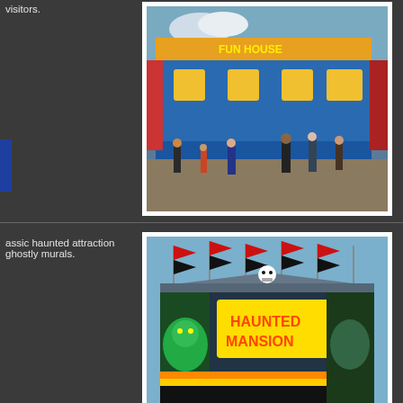visitors.
[Figure (photo): Carnival fun house attraction with blue exterior and colorful murals, people walking outside]
assic haunted attraction ghostly murals.
[Figure (photo): Haunted Mansion carnival attraction with red and black flags on top, colorful monster murals]
med fun house.
[Figure (photo): Partial view of another carnival attraction]